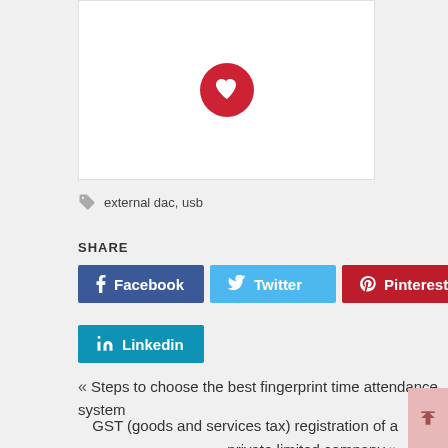[Figure (illustration): White card panel with a red circular icon containing a heart/logo symbol]
external dac, usb
SHARE
Facebook
Twitter
Pinterest
Linkedin
« Steps to choose the best fingerprint time attendance system
GST (goods and services tax) registration of a private limited company »